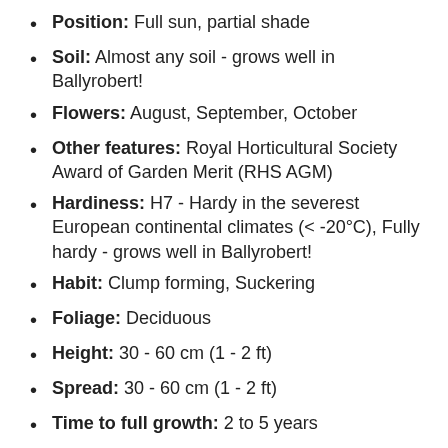Position: Full sun, partial shade
Soil: Almost any soil - grows well in Ballyrobert!
Flowers: August, September, October
Other features: Royal Horticultural Society Award of Garden Merit (RHS AGM)
Hardiness: H7 - Hardy in the severest European continental climates (< -20°C), Fully hardy - grows well in Ballyrobert!
Habit: Clump forming, Suckering
Foliage: Deciduous
Height: 30 - 60 cm (1 - 2 ft)
Spread: 30 - 60 cm (1 - 2 ft)
Time to full growth: 2 to 5 years
Plant type: Herbaceous Perennial
Colour: Pink, yellow, green
Goes well with: Aster, Rudbeckia. Fuchsia, Hydrangea, and Geranium